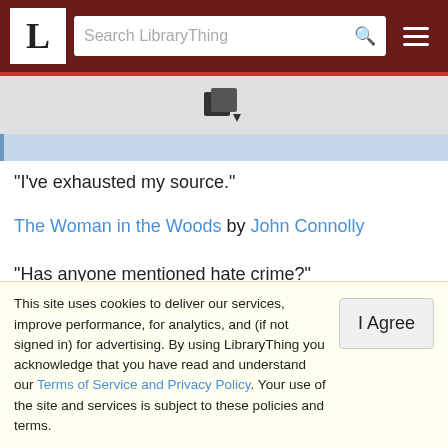L | Search LibraryThing
[Figure (logo): LibraryThing books icon with dropdown arrow]
"I've exhausted my source."
The Woman in the Woods by John Connolly
"Has anyone mentioned hate crime?"
336  rolandperkins   May 13, 2019, 3:18pm
"And if HE doesn't?" (emphasis added)
This site uses cookies to deliver our services, improve performance, for analytics, and (if not signed in) for advertising. By using LibraryThing you acknowledge that you have read and understand our Terms of Service and Privacy Policy. Your use of the site and services is subject to these policies and terms.